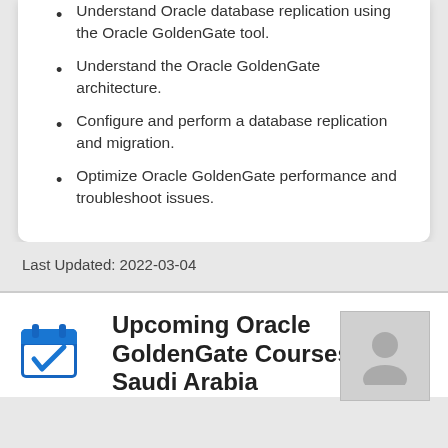Understand Oracle database replication using the Oracle GoldenGate tool.
Understand the Oracle GoldenGate architecture.
Configure and perform a database replication and migration.
Optimize Oracle GoldenGate performance and troubleshoot issues.
Last Updated: 2022-03-04
Upcoming Oracle GoldenGate Courses in Saudi Arabia